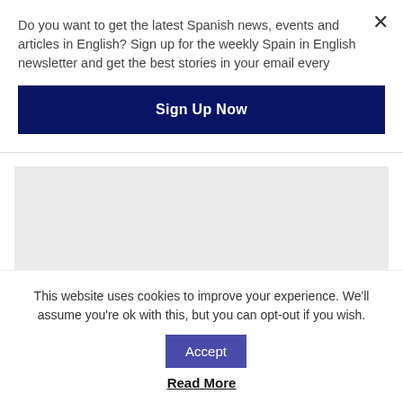Do you want to get the latest Spanish news, events and articles in English? Sign up for the weekly Spain in English newsletter and get the best stories in your email every
Sign Up Now
[Figure (photo): Grey placeholder image area]
Spain to reduce VAT on gas to 5% from October until at least
This website uses cookies to improve your experience. We'll assume you're ok with this, but you can opt-out if you wish.
Accept
Read More